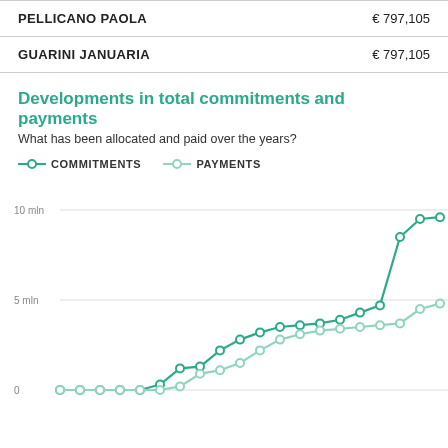| Name | Amount |
| --- | --- |
| PELLICANO PAOLA | € 797,105 |
| GUARINI JANUARIA | € 797,105 |
Developments in total commitments and payments
What has been allocated and paid over the years?
[Figure (line-chart): Developments in total commitments and payments]